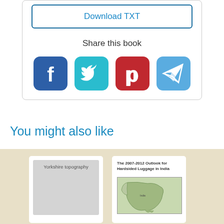Download TXT
Share this book
[Figure (infographic): Social media share icons: Facebook (blue), Twitter (teal), Pinterest (red), Telegram (light blue)]
You might also like
[Figure (illustration): Book cover thumbnail: Yorkshire topography, gray blank cover]
[Figure (illustration): Book cover thumbnail: The 2007-2012 Outlook for Hardsided Luggage in India, with a map of India]